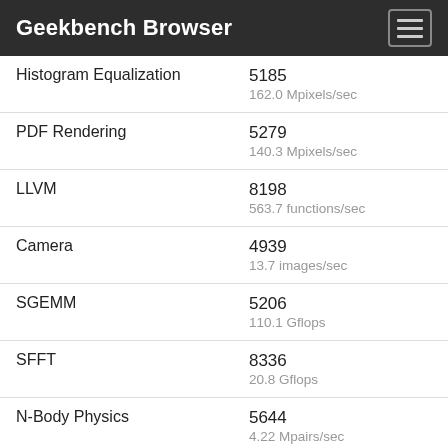Geekbench Browser
| Benchmark | Score / Rate |
| --- | --- |
| Histogram Equalization | 5185
162.0 Mpixels/sec |
| PDF Rendering | 5279
140.3 Mpixels/sec |
| LLVM | 8198
563.7 functions/sec |
| Camera | 4939
13.7 images/sec |
| SGEMM | 5206
110.1 Gflops |
| SFFT | 8336
20.8 Gflops |
| N-Body Physics | 5644
4.22 Mpairs/sec |
| Ray Tracing | 5228
763.5 Kpixels/sec |
| Rigid Body Physics | 5346 |